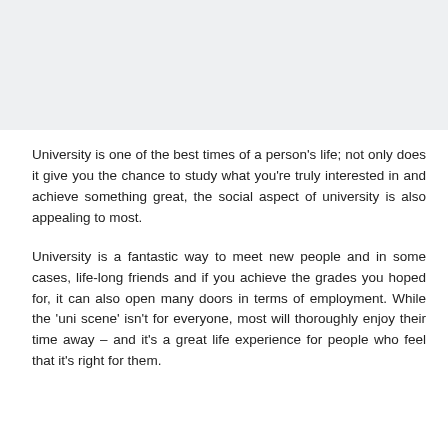University is one of the best times of a person's life; not only does it give you the chance to study what you're truly interested in and achieve something great, the social aspect of university is also appealing to most.
University is a fantastic way to meet new people and in some cases, life-long friends and if you achieve the grades you hoped for, it can also open many doors in terms of employment. While the 'uni scene' isn't for everyone, most will thoroughly enjoy their time away – and it's a great life experience for people who feel that it's right for them.